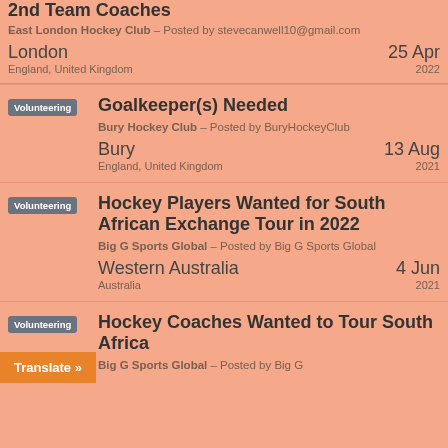2nd Team Coaches
East London Hockey Club – Posted by stevecanwell10@gmail.com
London    25 Apr
England, United Kingdom    2022
Volunteering
Goalkeeper(s) Needed
Bury Hockey Club – Posted by BuryHockeyClub
Bury    13 Aug
England, United Kingdom    2021
Volunteering
Hockey Players Wanted for South African Exchange Tour in 2022
Big G Sports Global – Posted by Big G Sports Global
Western Australia    4 Jun
Australia    2021
Volunteering
Hockey Coaches Wanted to Tour South Africa
Big G Sports Global – Posted by Big G
Translate »